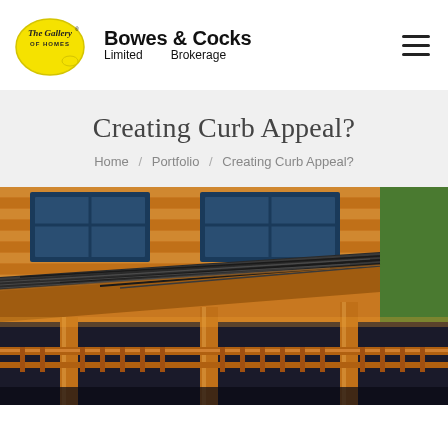[Figure (logo): The Gallery of Homes logo - yellow oval shape with cursive text, and Bowes & Cocks Limited Brokerage company name]
Creating Curb Appeal?
Home / Portfolio / Creating Curb Appeal?
[Figure (photo): Close-up exterior photo of a wooden cabin/house showing warm-toned cedar siding, dark metal standing-seam roof, wooden porch columns and railing, with trees visible in background]